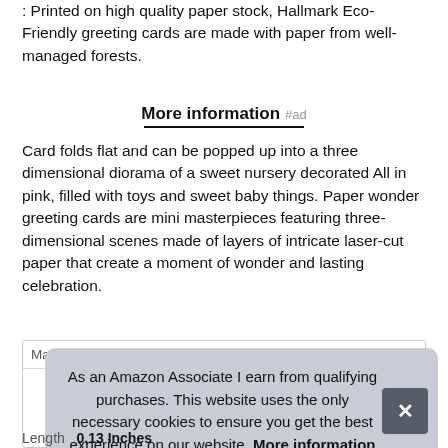: Printed on high quality paper stock, Hallmark Eco-Friendly greeting cards are made with paper from well-managed forests.
More information #ad
Card folds flat and can be popped up into a three dimensional diorama of a sweet nursery decorated All in pink, filled with toys and sweet baby things. Paper wonder greeting cards are mini masterpieces featuring three-dimensional scenes made of layers of intricate laser-cut paper that create a moment of wonder and lasting celebration.
As an Amazon Associate I earn from qualifying purchases. This website uses the only necessary cookies to ensure you get the best experience on our website. More information
Length | 0.13 Inches